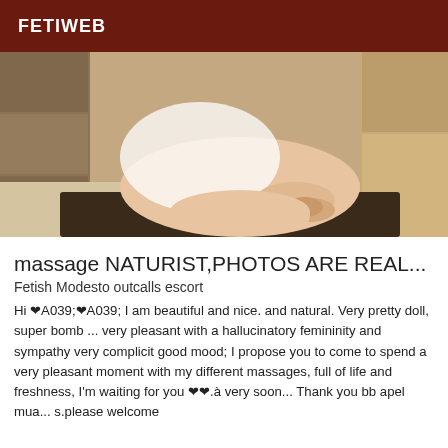FETIWEB
[Figure (photo): Photo of a person in a massage/spa setting, seated on a massage table wearing a sheer white top, in a stone-tiled room]
massage NATURIST,PHOTOS ARE REAL...
Fetish Modesto outcalls escort
Hi ❤A039;❤A039; I am beautiful and nice. and natural. Very pretty doll, super bomb ... very pleasant with a hallucinatory femininity and sympathy very complicit good mood; I propose you to come to spend a very pleasant moment with my different massages, full of life and freshness, I'm waiting for you ❤❤.à very soon... Thank you bb apel mua... s.please welcome